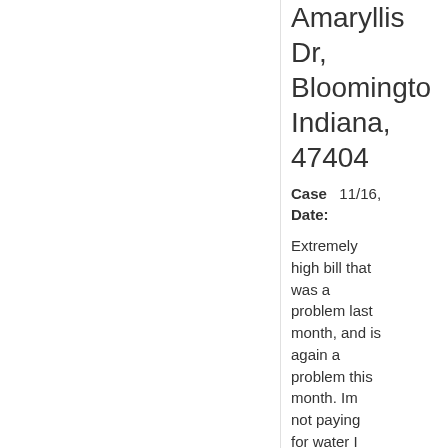Amaryllis Dr, Bloomington, Indiana, 47404
Case Date: 11/16,
Extremely high bill that was a problem last month, and is again a problem this month. Im not paying for water I didn't use. I can't afford it, I'm a college